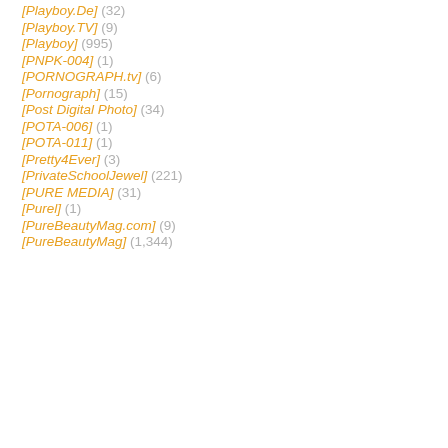[Playboy.De] (32)
[Playboy.TV] (9)
[Playboy] (995)
[PNPK-004] (1)
[PORNOGRAPH.tv] (6)
[Pornograph] (15)
[Post Digital Photo] (34)
[POTA-006] (1)
[POTA-011] (1)
[Pretty4Ever] (3)
[PrivateSchoolJewel] (221)
[PURE MEDIA] (31)
[Purel] (1)
[PureBeautyMag.com] (9)
[PureBeautyMag] (1,344)